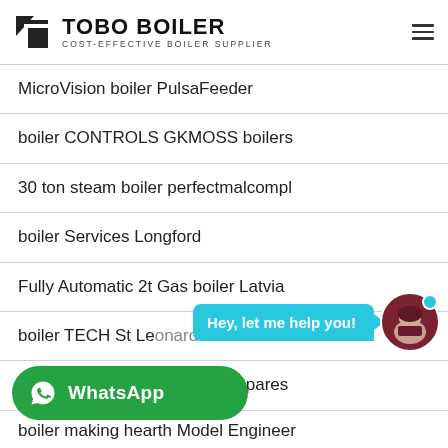TOBO BOILER — COST-EFFECTIVE BOILER SUPPLIER
MicroVision boiler PulsaFeeder
boiler CONTROLS GKMOSS boilers
30 ton steam boiler perfectmalcompl
boiler Services Longford
Fully Automatic 2t Gas boiler Latvia
boiler TECH St Leonards Eastbourne
Vokera Linea Plus AG boiler Spares
[Figure (screenshot): WhatsApp chat button with green background and WhatsApp logo]
boiler making hearth Model Engineer